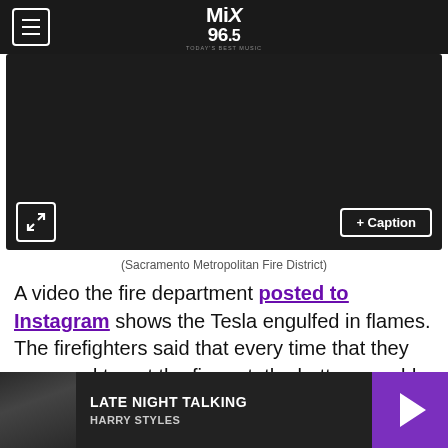MiX 96.5
[Figure (screenshot): Dark video player with expand and caption buttons]
(Sacramento Metropolitan Fire District)
A video the fire department posted to Instagram shows the Tesla engulfed in flames. The firefighters said that every time that they managed to put the fire out, the battery would reignite.
LATE NIGHT TALKING — HARRY STYLES